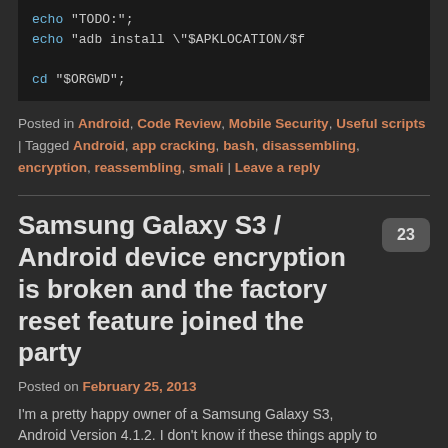[Figure (screenshot): Dark terminal/code block showing bash script lines: echo &quot;TODO:&quot;; echo &quot;adb install \&quot;$APKLOCATION/$f and cd &quot;$ORGWD&quot;]
Posted in Android, Code Review, Mobile Security, Useful scripts | Tagged Android, app cracking, bash, disassembling, encryption, reassembling, smali | Leave a reply
Samsung Galaxy S3 / Android device encryption is broken and the factory reset feature joined the party
Posted on February 25, 2013
I'm a pretty happy owner of a Samsung Galaxy S3, Android Version 4.1.2. I don't know if these things apply to